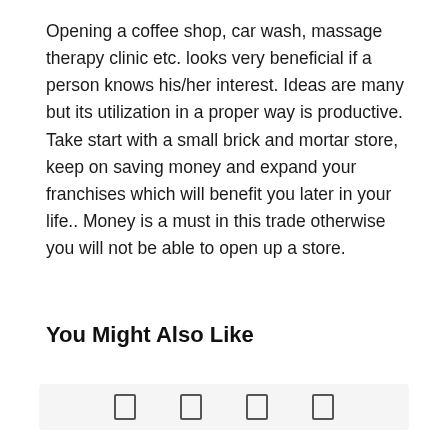Opening a coffee shop, car wash, massage therapy clinic etc. looks very beneficial if a person knows his/her interest. Ideas are many but its utilization in a proper way is productive. Take start with a small brick and mortar store, keep on saving money and expand your franchises which will benefit you later in your life.. Money is a must in this trade otherwise you will not be able to open up a store.
You Might Also Like
[Figure (other): A row of four small icon placeholders (social share or navigation icons) displayed in a light grey bar at the bottom of the page.]